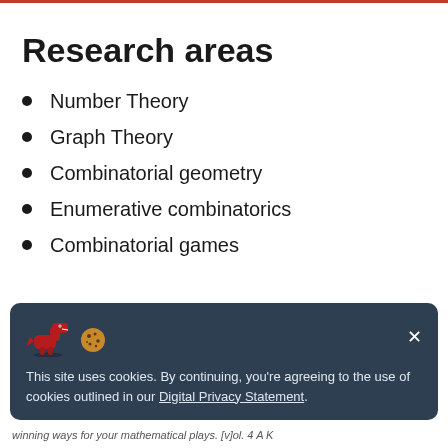Research areas
Number Theory
Graph Theory
Combinatorial geometry
Enumerative combinatorics
Combinatorial games
This site uses cookies. By continuing, you're agreeing to the use of cookies outlined in our Digital Privacy Statement.
winning ways for your mathematical plays. [v]ol. 4 A K